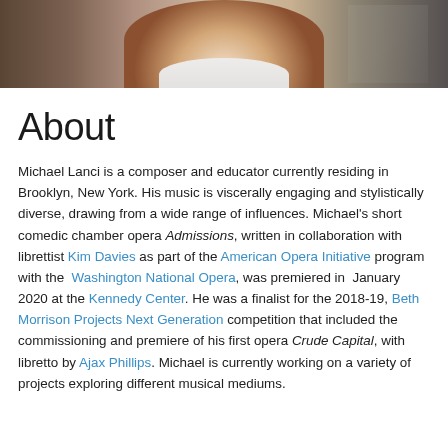[Figure (photo): Photo of Michael Lanci, a composer and educator, cropped to show neck/collar area with a white shirt and gray jacket, against a background with partial sheet music visible.]
About
Michael Lanci is a composer and educator currently residing in Brooklyn, New York. His music is viscerally engaging and stylistically diverse, drawing from a wide range of influences. Michael's short comedic chamber opera Admissions, written in collaboration with librettist Kim Davies as part of the American Opera Initiative program with the Washington National Opera, was premiered in January 2020 at the Kennedy Center. He was a finalist for the 2018-19, Beth Morrison Projects Next Generation competition that included the commissioning and premiere of his first opera Crude Capital, with libretto by Ajax Phillips. Michael is currently working on a variety of projects exploring different musical mediums.